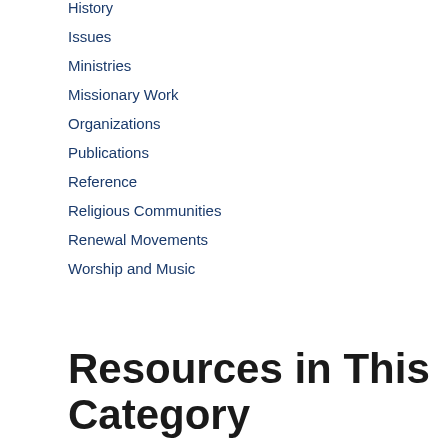History
Issues
Ministries
Missionary Work
Organizations
Publications
Reference
Religious Communities
Renewal Movements
Worship and Music
Resources in This Category